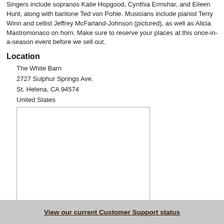Singers include sopranos Katie Hopgood, Cynthia Ermshar, and Eileen Hunt, along with baritone Ted von Pohle. Musicians include pianist Terry Winn and cellist Jeffrey McFarland-Johnson (pictured), as well as Alicia Mastromonaco on horn. Make sure to reserve your places at this once-in-a-season event before we sell out.
Location
The White Barn
2727 Sulphur Springs Ave.
St. Helena, CA 94574
United States
[Figure (map): A blank/placeholder map box with a gray border showing a location map area (content not visible)]
View our current Customer Support status